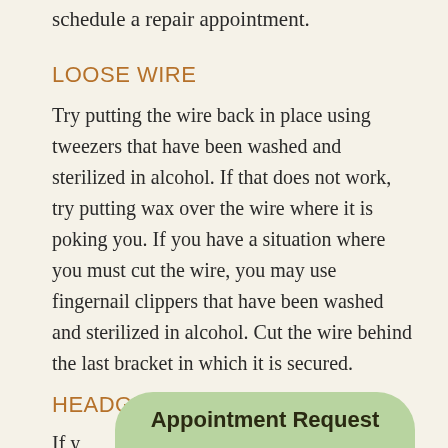schedule a repair appointment.
LOOSE WIRE
Try putting the wire back in place using tweezers that have been washed and sterilized in alcohol. If that does not work, try putting wax over the wire where it is poking you. If you have a situation where you must cut the wire, you may use fingernail clippers that have been washed and sterilized in alcohol. Cut the wire behind the last bracket in which it is secured.
HEADGEAR DOESNT FIT
If y
[Figure (other): Appointment Request button overlay at the bottom of the page]